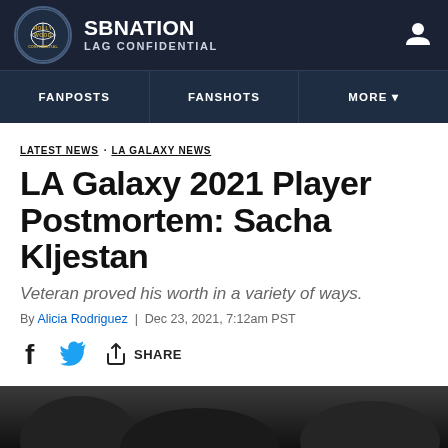SBNATION LAG CONFIDENTIAL
FANPOSTS  FANSHOTS  MORE
LATEST NEWS  LA GALAXY NEWS
LA Galaxy 2021 Player Postmortem: Sacha Kljestan
Veteran proved his worth in a variety of ways.
By Alicia Rodriguez | Dec 23, 2021, 7:12am PST
SHARE